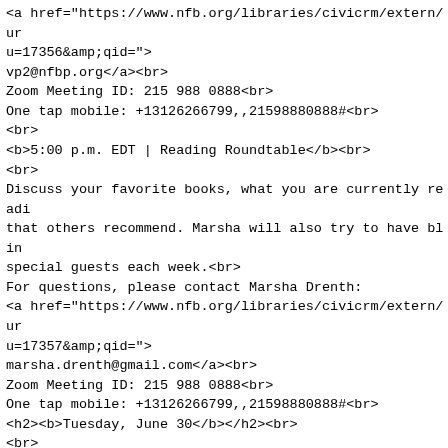<a href="https://www.nfb.org/libraries/civicrm/extern/ur u=17356&amp;qid=">
vp2@nfbp.org</a><br>
Zoom Meeting ID: 215 988 0888<br>
One tap mobile: +13126266799,,21598880888#<br>
<br>
<b>5:00 p.m. EDT | Reading Roundtable</b><br>
<br>
Discuss your favorite books, what you are currently readi that others recommend. Marsha will also try to have blin special guests each week.<br>
For questions, please contact Marsha Drenth:
<a href="https://www.nfb.org/libraries/civicrm/extern/ur u=17357&amp;qid=">
marsha.drenth@gmail.com</a><br>
Zoom Meeting ID: 215 988 0888<br>
One tap mobile: +13126266799,,21598880888#<br>
<h2><b>Tuesday, June 30</b></h2><br>
<br>
<b>2:00 p.m. EDT | Accessibility Boutique: Technology an Options for Seniors</b><br>
<br>
Learn more about easy, accessible, and powerful tools fo get a look at the latest in in-
home technology that anybody would be able
to use, and learn more about the training options that a those new to technology.<br>
For questions, please contact Kennedy at
<a href="https://www.nfb.org/libraries/civicrm/extern/ur u=17502&qid=3835220">